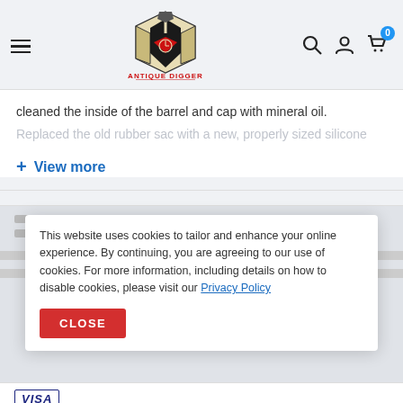[Figure (logo): Antique Digger logo with shield and shovel graphic, text ANTIQUE DIGGER in red below]
cleaned the inside of the barrel and cap with mineral oil.
Replaced the old rubber sac with a new, properly sized silicone
+ View more
This website uses cookies to tailor and enhance your online experience. By continuing, you are agreeing to our use of cookies. For more information, including details on how to disable cookies, please visit our Privacy Policy
CLOSE
[Figure (logo): VISA logo in dark blue]